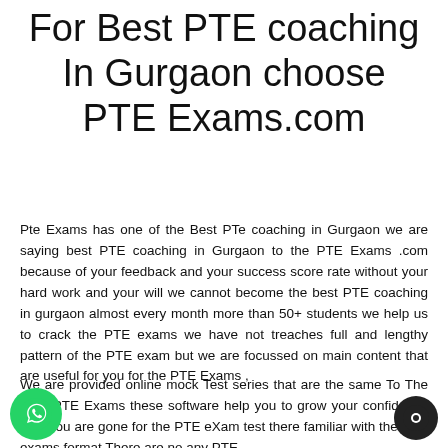For Best PTE coaching In Gurgaon choose PTE Exams.com
Pte Exams has one of the Best PTe coaching in Gurgaon we are saying best PTE coaching in Gurgaon to the PTE Exams .com because of your feedback and your success score rate without your hard work and your will we cannot become the best PTE coaching in gurgaon almost every month more than 50+ students we help us to crack the PTE exams we have not treaches full and lengthy pattern of the PTE exam but we are focussed on main content that are useful for you for the PTE Exams ,
We are provided online mock Test series that are the same To The Real PTE Exams these software help you to grow your confidence so if you are gone for the PTE eXam test there familiar with the PTE exams format There are no any PTE